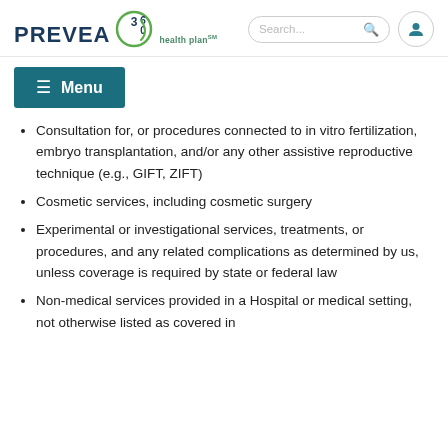[Figure (logo): Prevea 360 Health Plan logo with teal/green circular design]
Consultation for, or procedures connected to in vitro fertilization, embryo transplantation, and/or any other assistive reproductive technique (e.g., GIFT, ZIFT)
Cosmetic services, including cosmetic surgery
Experimental or investigational services, treatments, or procedures, and any related complications as determined by us, unless coverage is required by state or federal law
Non-medical services provided in a Hospital or medical setting, not otherwise listed as covered in